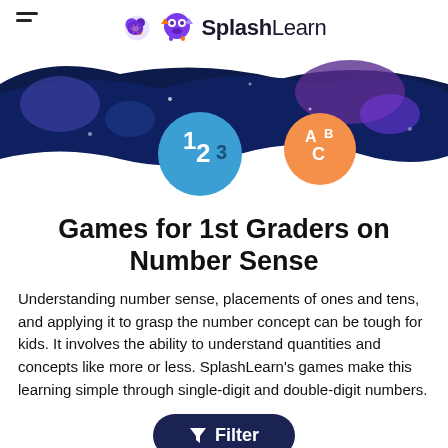SplashLearn
[Figure (illustration): Dark navy blue decorative banner with colorful blob shapes, a blue circle with '123' and an orange circle with 'ABC' on a space-themed background]
Games for 1st Graders on Number Sense
Understanding number sense, placements of ones and tens, and applying it to grasp the number concept can be tough for kids. It involves the ability to understand quantities and concepts like more or less. SplashLearn's games make this learning simple through single-digit and double-digit numbers.
[Figure (screenshot): Filter button (dark navy, pill-shaped) with funnel icon and 'Filter' label]
Personalized Learning